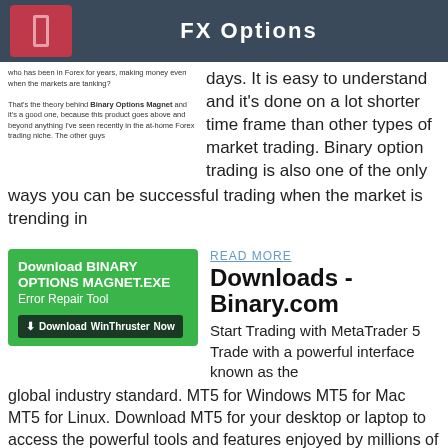FX Options
who has been in Forex for years, making money even when the markets are tanking?
days. It is easy to understand and it's done on a lot shorter time frame than other types of market trading. Binary option trading is also one of the only
That's the theory behind Binary Options Magnet and it's a good one, because this product goes above and beyond anything I've seen recently in the at-home Forex trading niche. The other guys
ways you can be successful trading when the market is trending in
[Figure (screenshot): Green advertisement box: Download BINARY OPTIONS MAGNET.EXE Error Repair Tool with Download WinThruster Now button]
READ MORE
Downloads - Binary.com
Start Trading with MetaTrader 5 Trade with a powerful interface known as the global industry standard. MT5 for Windows MT5 for Mac MT5 for Linux. Download MT5 for your desktop or laptop to access the powerful tools and features enjoyed by millions of traders.
– they may not even be real Forex traders. They just want to make a quick buck off of you. So it doesn't matter if you make a profit… but their profits
READ MORE
How to Trade Binary Options